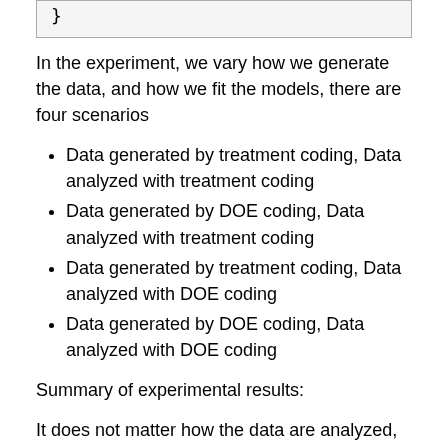}
In the experiment, we vary how we generate the data, and how we fit the models, there are four scenarios
Data generated by treatment coding, Data analyzed with treatment coding
Data generated by DOE coding, Data analyzed with treatment coding
Data generated by treatment coding, Data analyzed with DOE coding
Data generated by DOE coding, Data analyzed with DOE coding
Summary of experimental results:
It does not matter how the data are analyzed, the powers mostly depend on how we generate the data. This is pretty comforting, but means that we